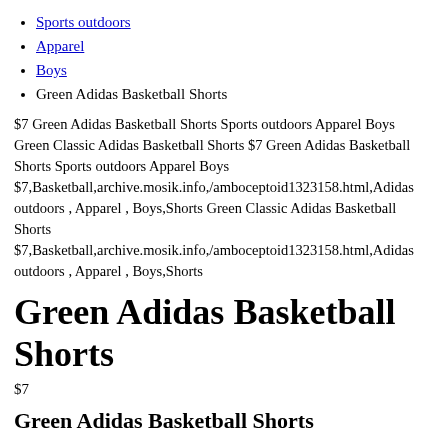Sports outdoors
Apparel
Boys
Green Adidas Basketball Shorts
$7 Green Adidas Basketball Shorts Sports outdoors Apparel Boys Green Classic Adidas Basketball Shorts $7 Green Adidas Basketball Shorts Sports outdoors Apparel Boys $7,Basketball,archive.mosik.info,/amboceptoid1323158.html,Adidas outdoors , Apparel , Boys,Shorts Green Classic Adidas Basketball Shorts $7,Basketball,archive.mosik.info,/amboceptoid1323158.html,Adidas outdoors , Apparel , Boys,Shorts
Green Adidas Basketball Shorts
$7
Green Adidas Basketball Shorts